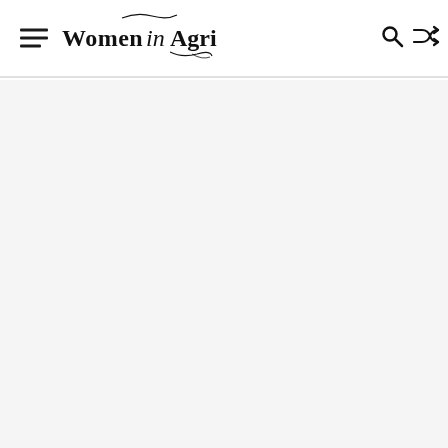Women in Agri — website header with hamburger menu, logo, search and shuffle icons
[Figure (screenshot): White content area below the header, largely empty/blank page body]